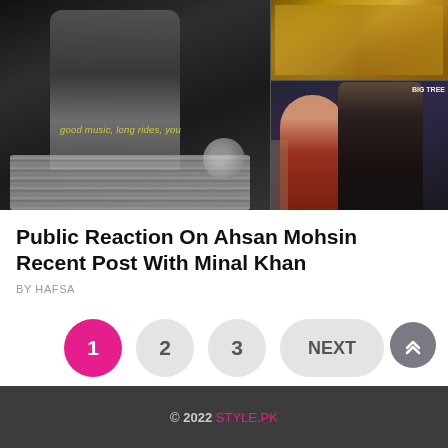[Figure (photo): Photo collage: left side shows black and white photo with legs/person sitting on car with text 'good music, long rides, you' and car grill. Right side shows two photos: top with people in golden/brown clothes, bottom with a couple (woman in red and man in black) at a restaurant/event.]
Public Reaction On Ahsan Mohsin Recent Post With Minal Khan
BY HAFSA
1  2  3  NEXT
© 2022 STYLE.PK